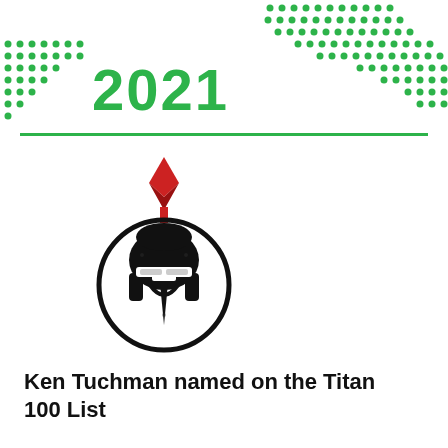[Figure (illustration): Decorative green dot semicircle/arc pattern forming a half-circle at the top of the page, with the year '2021' displayed in large bold green text in the center-left area]
[Figure (logo): Spartan warrior helmet logo inside a circle with a red diamond/gem shape above it, black ink stamp style]
Ken Tuchman named on the Titan 100 List